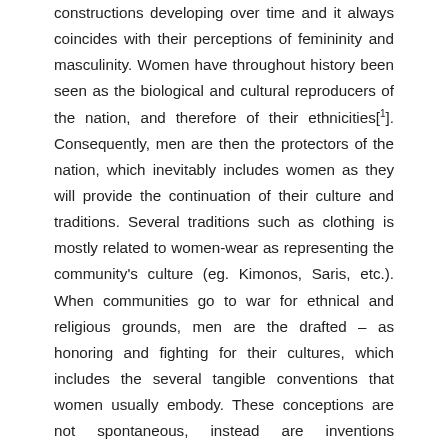constructions developing over time and it always coincides with their perceptions of femininity and masculinity. Women have throughout history been seen as the biological and cultural reproducers of the nation, and therefore of their ethnicities[1]. Consequently, men are then the protectors of the nation, which inevitably includes women as they will provide the continuation of their culture and traditions. Several traditions such as clothing is mostly related to women-wear as representing the community's culture (eg. Kimonos, Saris, etc.). When communities go to war for ethnical and religious grounds, men are the drafted – as honoring and fighting for their cultures, which includes the several tangible conventions that women usually embody. These conceptions are not spontaneous, instead are inventions constructed over time. This is where gender